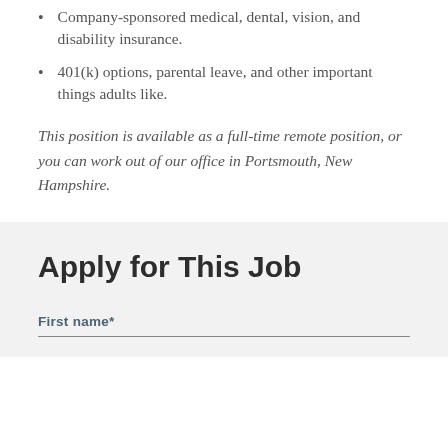Company-sponsored medical, dental, vision, and disability insurance.
401(k) options, parental leave, and other important things adults like.
This position is available as a full-time remote position, or you can work out of our office in Portsmouth, New Hampshire.
Apply for This Job
First name*